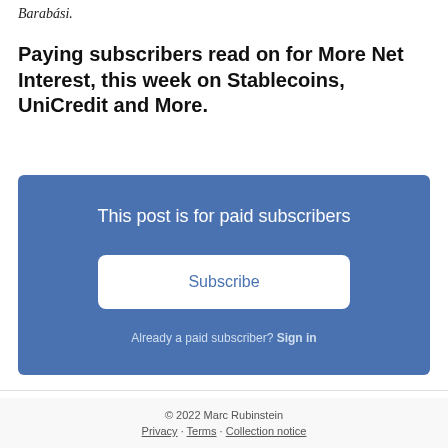Barabási.
Paying subscribers read on for More Net Interest, this week on Stablecoins, UniCredit and More.
[Figure (other): Blue subscription call-to-action box with text 'This post is for paid subscribers', a Subscribe button, and 'Already a paid subscriber? Sign in' text.]
© 2022 Marc Rubinstein
Privacy · Terms · Collection notice